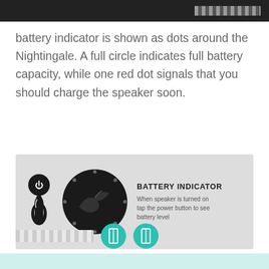XXXXXXXXXX
battery indicator is shown as dots around the Nightingale. A full circle indicates full battery capacity, while one red dot signals that you should charge the speaker soon.
[Figure (infographic): Battery indicator infographic showing a power button icon, a circular Nightingale speaker with dots around it, and text explaining how to check battery level by tapping the power button.]
XXXXXXXXXXXXXXX